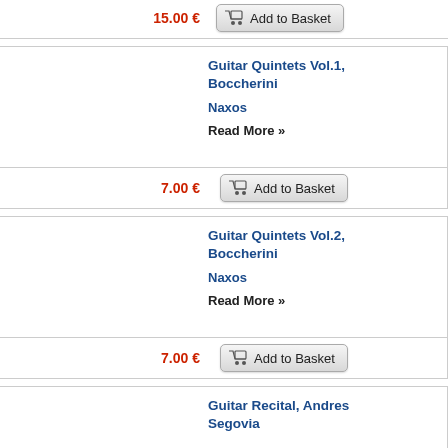15.00 €
Add to Basket
Guitar Quintets Vol.1, Boccherini
Naxos
Read More »
7.00 €
Add to Basket
Guitar Quintets Vol.2, Boccherini
Naxos
Read More »
7.00 €
Add to Basket
Guitar Recital, Andres Segovia